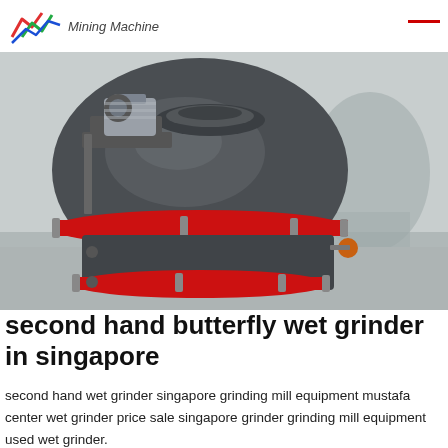Mining Machine
[Figure (photo): Large industrial wet grinder machine with dark grey dome-shaped body, two red band clamps around the middle and lower sections, a motor mounted on top-left, and a small orange tap/valve on the right side. The machine is photographed in an industrial/workshop setting.]
second hand butterfly wet grinder in singapore
second hand wet grinder singapore grinding mill equipment mustafa center wet grinder price sale singapore grinder grinding mill equipment used wet grinder.